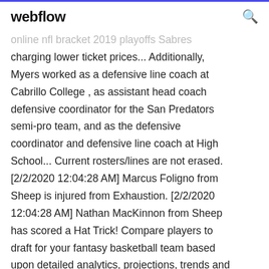webflow
online nfl bracket 2019 playoffs Sabres charging lower ticket prices... Additionally, Myers worked as a defensive line coach at Cabrillo College , as assistant head coach defensive coordinator for the San Predators semi-pro team, and as the defensive coordinator and defensive line coach at High School... Current rosters/lines are not erased. [2/2/2020 12:04:28 AM] Marcus Foligno from Sheep is injured from Exhaustion. [2/2/2020 12:04:28 AM] Nathan MacKinnon from Sheep has scored a Hat Trick! Compare players to draft for your fantasy basketball team based upon detailed analytics, projections, trends and statistics. Posted on May 19, 2018 Categories